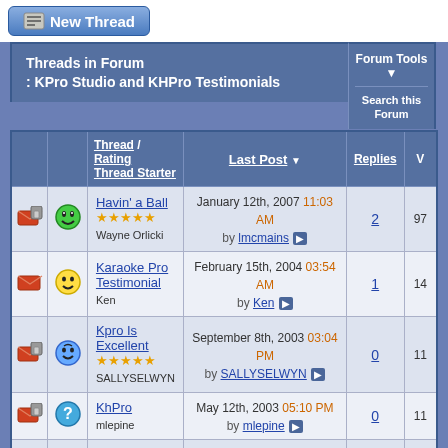[Figure (screenshot): New Thread button with icon]
Threads in Forum : KPro Studio and KHPro Testimonials
Forum Tools | Search this Forum
|  |  | Thread / Rating Thread Starter | Last Post | Replies | V |
| --- | --- | --- | --- | --- | --- |
| [lock] | [smiley] | Havin' a Ball ★★★★★ Wayne Orlicki | January 12th, 2007 11:03 AM by lmcmains ▶ | 2 | 97 |
| [envelope] | [smiley] | Karaoke Pro Testimonial Ken | February 15th, 2004 03:54 AM by Ken ▶ | 1 | 14 |
| [lock] | [smiley] | Kpro Is Excellent ★★★★★ SALLYSELWYN | September 8th, 2003 03:04 PM by SALLYSELWYN ▶ | 0 | 11 |
| [lock] | [?] | KhPro mlepine | May 12th, 2003 05:10 PM by mlepine ▶ | 0 | 11 |
| [envelope] | [smiley] | KHP Made me a hit bshup | May 12th, 2003 08:38 AM by bshup ▶ | 0 | 10 |
| [envelope] | [smiley] | MTU is Great Gwendolyn Niblo | March 14th, 2003 09:57 PM by Gwendolyn Niblo ▶ | 0 | 10 |